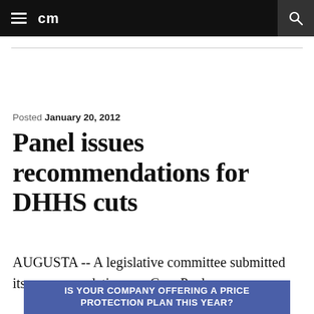cm
Posted January 20, 2012
Panel issues recommendations for DHHS cuts
AUGUSTA -- A legislative committee submitted its recommendations on Gov. Paul
[Figure (infographic): Blue advertisement banner reading: IS YOUR COMPANY OFFERING A PRICE PROTECTION PLAN THIS YEAR?]